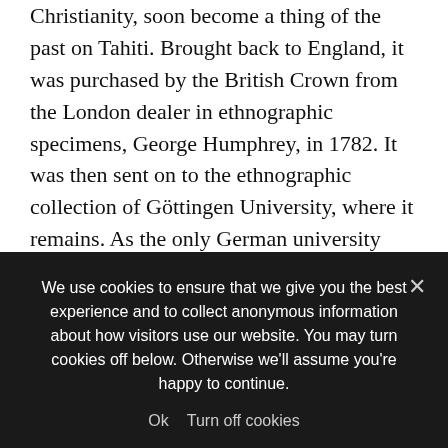Christianity, soon become a thing of the past on Tahiti. Brought back to England, it was purchased by the British Crown from the London dealer in ethnographic specimens, George Humphrey, in 1782. It was then sent on to the ethnographic collection of Göttingen University, where it remains. As the only German university founded by a British king in the context of the Personal Union between Hanover and Britain, the scientific contacts between Göttingen, the Royal Society and the British Crown in the eighteenth century were excellent, as this handsome gift evidences. Its passage from Tahiti through London and on to Germany was also marked by the impression it made upon the late eighteenth-century
We use cookies to ensure that we give you the best experience and to collect anonymous information about how visitors use our website. You may turn cookies off below. Otherwise we'll assume you're happy to continue.
Ok   Turn off cookies